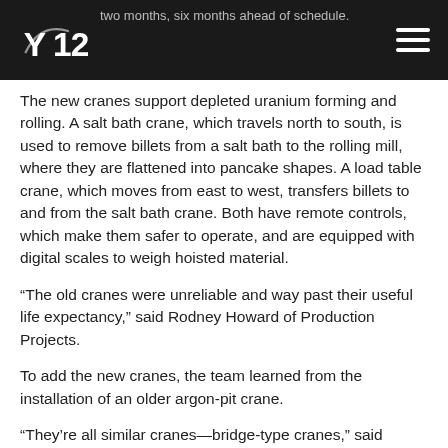two months, six months ahead of schedule.
The new cranes support depleted uranium forming and rolling. A salt bath crane, which travels north to south, is used to remove billets from a salt bath to the rolling mill, where they are flattened into pancake shapes. A load table crane, which moves from east to west, transfers billets to and from the salt bath crane. Both have remote controls, which make them safer to operate, and are equipped with digital scales to weigh hoisted material.
“The old cranes were unreliable and way past their useful life expectancy,” said Rodney Howard of Production Projects.
To add the new cranes, the team learned from the installation of an older argon-pit crane.
“They’re all similar cranes—bridge-type cranes,” said Construction Manager Billy Hurst. “With the first one we installed years ago, we ran into some issues with the mechanical portions of the crane itself. Because we used some of those lessons learned from that, we did not have any installation change